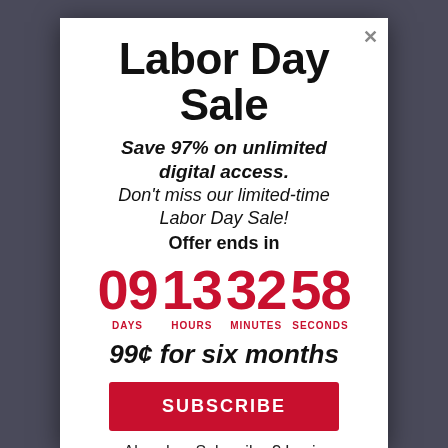Labor Day Sale
Save 97% on unlimited digital access. Don't miss our limited-time Labor Day Sale! Offer ends in
[Figure (infographic): Countdown timer showing 09 DAYS, 13 HOURS, 32 MINUTES, 58 SECONDS in red]
99¢ for six months
SUBSCRIBE
Already a Subscriber? Login